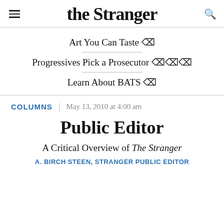the Stranger
Art You Can Taste ⊠
Progressives Pick a Prosecutor ⊠⊠⊠
Learn About BATS ⊠
COLUMNS | May 13, 2010 at 4:00 am
Public Editor
A Critical Overview of The Stranger
A. BIRCH STEEN, STRANGER PUBLIC EDITOR